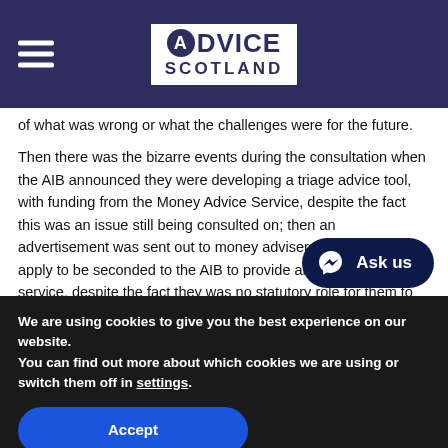Advice Scotland
of what was wrong or what the challenges were for the future.

Then there was the bizarre events during the consultation when the AIB announced they were developing a triage advice tool, with funding from the Money Advice Service, despite the fact this was an issue still being consulted on; then an advertisement was sent out to money advisers asking them to apply to be seconded to the AIB to provide an in house advice service, despite the fact they was no statutory role for them to perform such fu
We are using cookies to give you the best experience on our website.
You can find out more about which cookies we are using or switch them off in settings.
Accept